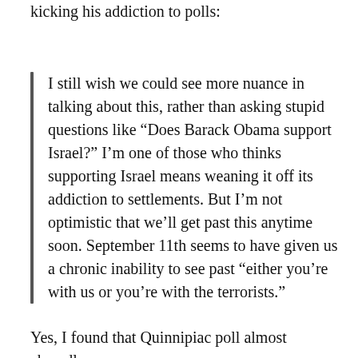kicking his addiction to polls:
I still wish we could see more nuance in talking about this, rather than asking stupid questions like "Does Barack Obama support Israel?" I'm one of those who thinks supporting Israel means weaning it off its addiction to settlements. But I'm not optimistic that we'll get past this anytime soon. September 11th seems to have given us a chronic inability to see past "either you're with us or you're with the terrorists."
Yes, I found that Quinnipiac poll almost absurdly